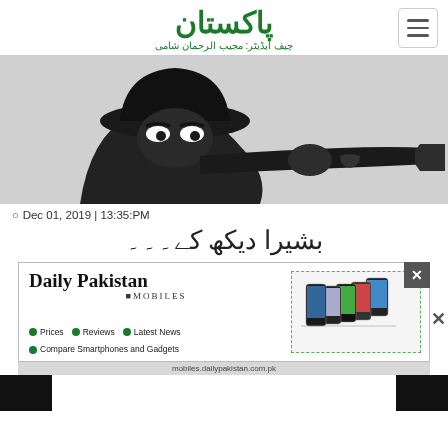پاکستان - چیف ایڈیٹر: مجیب الرحمان شامی
[Figure (illustration): Dark silhouette of a spy/thief character wearing a black hat and holding a large black gun, against a light background. Cartoon style illustration.]
Dec 01, 2019 | 13:35:PM
بشیرا دیکھ کے۔۔۔
[Figure (other): Daily Pakistan Mobiles advertisement banner showing smartphone images on the right side with green dashed border. Contains bullets: Prices, Reviews, Latest News, Compare Smartphones and Gadgets. URL: mobiles.dailypakistan.com.pk]